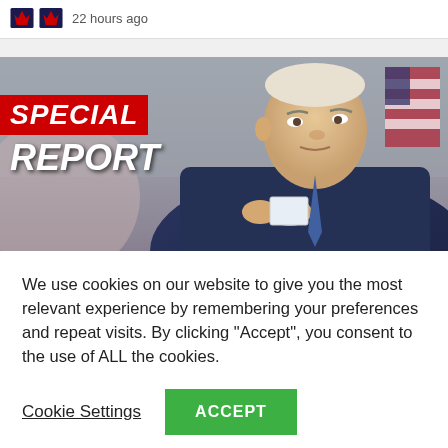22 hours ago
[Figure (photo): Man (Joe Biden) in suit holding a card, with American flag in background, overlaid with 'SPECIAL REPORT' text on red banner]
We use cookies on our website to give you the most relevant experience by remembering your preferences and repeat visits. By clicking "Accept", you consent to the use of ALL the cookies.
Cookie Settings   ACCEPT